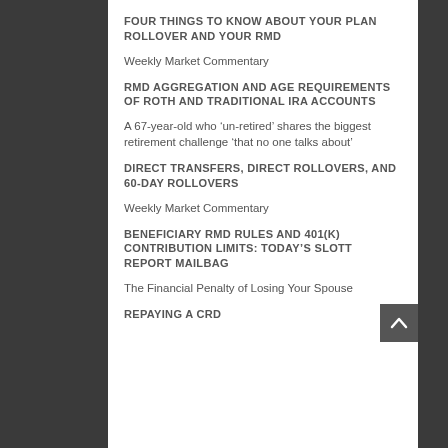FOUR THINGS TO KNOW ABOUT YOUR PLAN ROLLOVER AND YOUR RMD
Weekly Market Commentary
RMD AGGREGATION AND AGE REQUIREMENTS OF ROTH AND TRADITIONAL IRA ACCOUNTS
A 67-year-old who ‘un-retired’ shares the biggest retirement challenge ‘that no one talks about’
DIRECT TRANSFERS, DIRECT ROLLOVERS, AND 60-DAY ROLLOVERS
Weekly Market Commentary
BENEFICIARY RMD RULES AND 401(K) CONTRIBUTION LIMITS: TODAY’S SLOTT REPORT MAILBAG
The Financial Penalty of Losing Your Spouse
REPAYING A CRD